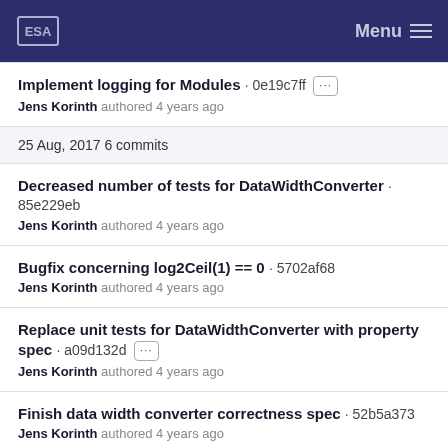Menu
Implement logging for Modules · 0e19c7ff
Jens Korinth authored 4 years ago
25 Aug, 2017 6 commits
Decreased number of tests for DataWidthConverter · 85e229eb
Jens Korinth authored 4 years ago
Bugfix concerning log2Ceil(1) == 0 · 5702af68
Jens Korinth authored 4 years ago
Replace unit tests for DataWidthConverter with property spec · a09d132d
Jens Korinth authored 4 years ago
Finish data width converter correctness spec · 52b5a373
Jens Korinth authored 4 years ago